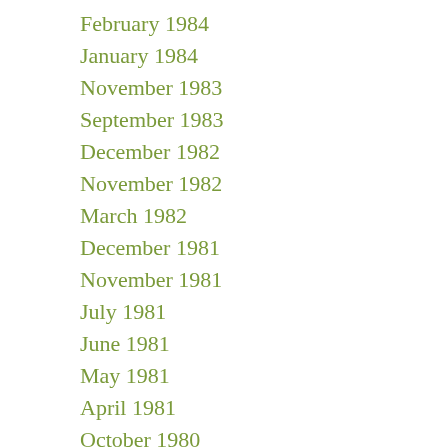February 1984
January 1984
November 1983
September 1983
December 1982
November 1982
March 1982
December 1981
November 1981
July 1981
June 1981
May 1981
April 1981
October 1980
June 1980
March 1980
February 1980